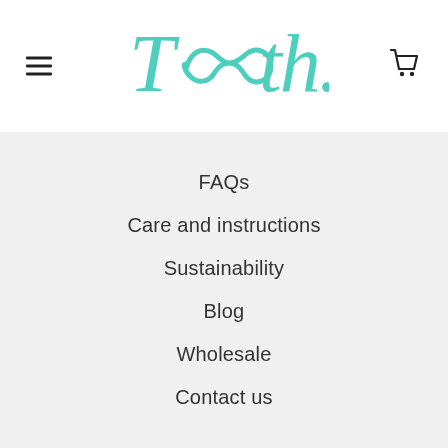[Figure (logo): Tooth brand logo in teal/turquoise cursive script with infinity symbol]
FAQs
Care and instructions
Sustainability
Blog
Wholesale
Contact us